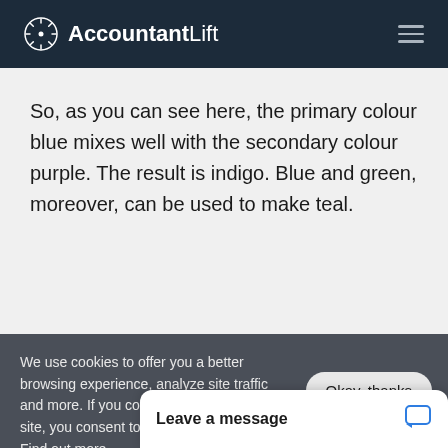AccountantLift
So, as you can see here, the primary colour blue mixes well with the secondary colour purple. The result is indigo. Blue and green, moreover, can be used to make teal.
We use cookies to offer you a better browsing experience, analyze site traffic and more. If you continue to use this site, you consent to our use of cookies. Find out more.
Leave a message